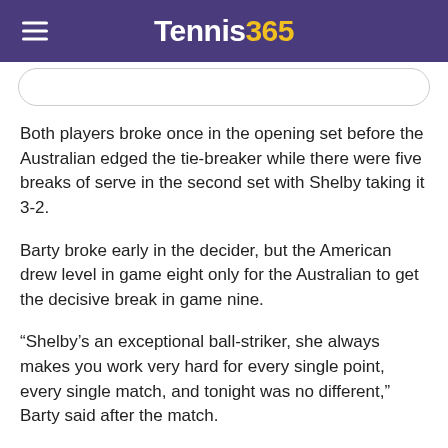Tennis365
Both players broke once in the opening set before the Australian edged the tie-breaker while there were five breaks of serve in the second set with Shelby taking it 3-2.
Barty broke early in the decider, but the American drew level in game eight only for the Australian to get the decisive break in game nine.
“Shelby’s an exceptional ball-striker, she always makes you work very hard for every single point, every single match, and tonight was no different,” Barty said after the match.
Up next is Spaniard Paula Badosa, who beat Caty McNally 6-3, 6-3.
Also in the top half of the draw, former US Open champion Sloane Stephens beat Ajla TomImanovic 6-3, 6-4 to set up a quarter-final clash against Veronika Kudermetova.